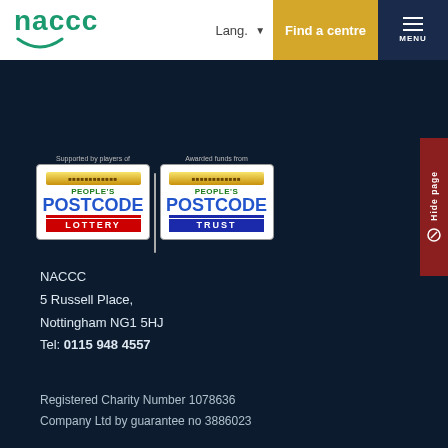naccc | Lang. | Find a centre | MENU
[Figure (logo): People's Postcode Lottery logo with 'Supported by players of' label]
[Figure (logo): People's Postcode Trust logo with 'Awarded funds from' label]
NACCC
5 Russell Place,
Nottingham NG1 5HJ
Tel: 0115 948 4557
Registered Charity Number 1078636
Company Ltd by guarantee no 3886023